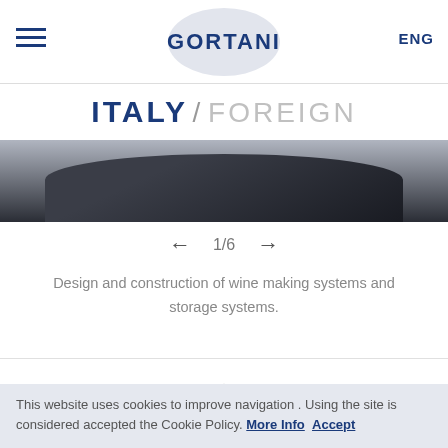GORTANI | ENG
ITALY / FOREIGN
[Figure (photo): Partial view of a dark curved surface, appears to be a wine making or storage system]
1/6
Design and construction of wine making systems and storage systems.
[Figure (other): Loading spinner icon]
This website uses cookies to improve navigation . Using the site is considered accepted the Cookie Policy. More Info Accept